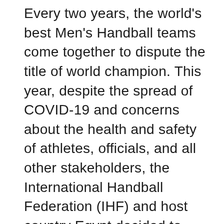Every two years, the world's best Men's Handball teams come together to dispute the title of world champion. This year, despite the spread of COVID-19 and concerns about the health and safety of athletes, officials, and all other stakeholders, the International Handball Federation (IHF) and host country Egypt decided to push through with the flagship event – the 27th IHF Men's Handball World Championship.